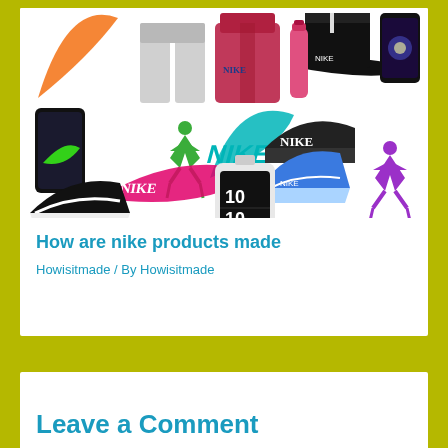[Figure (photo): Collage of Nike branded products including shoes, clothing (sweatpants, hoodie, shorts), hats, phone cases, watches, and Nike/Jordan logos in various colors]
How are nike products made
Howisitmade / By Howisitmade
Leave a Comment